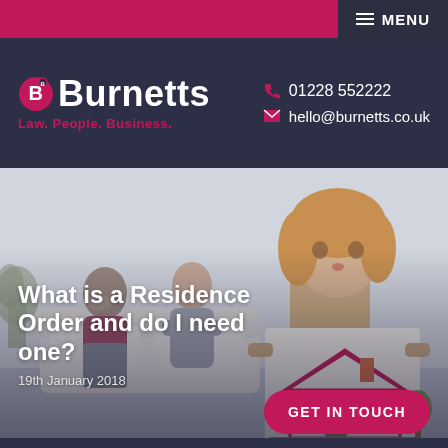MENU
[Figure (logo): Burnetts law firm logo with circular B icon in pink/magenta on dark navy background. Tagline: Law. People. Business.]
01228 552222
hello@burnetts.co.uk
[Figure (photo): A young girl in the foreground holding a child's drawing of a house, with two adults (couple) sitting apart on a sofa in the blurred background, suggesting family separation or divorce context.]
What is a Residence Order and do I need one?
19th January 2018
GET IN TOUCH